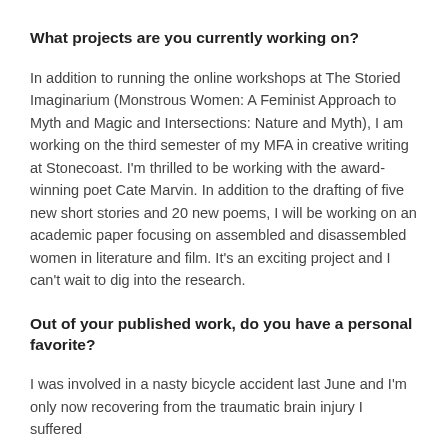What projects are you currently working on?
In addition to running the online workshops at The Storied Imaginarium (Monstrous Women: A Feminist Approach to Myth and Magic and Intersections: Nature and Myth), I am working on the third semester of my MFA in creative writing at Stonecoast. I'm thrilled to be working with the award-winning poet Cate Marvin. In addition to the drafting of five new short stories and 20 new poems, I will be working on an academic paper focusing on assembled and disassembled women in literature and film. It's an exciting project and I can't wait to dig into the research.
Out of your published work, do you have a personal favorite?
I was involved in a nasty bicycle accident last June and I'm only now recovering from the traumatic brain injury I suffered